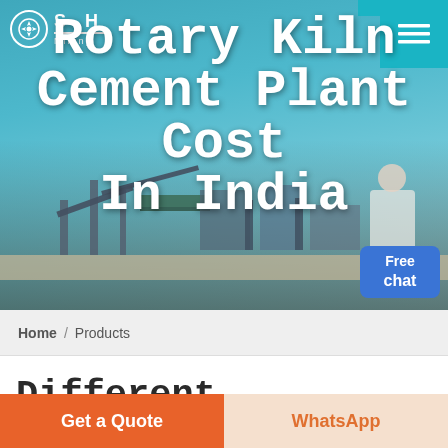[Figure (screenshot): Hero banner image of an industrial cement plant / mining equipment facility under a blue sky, with overlay navigation bar showing SH Mining logo and hamburger menu button]
Rotary Kiln Cement Plant Cost In India
Free chat
Home / Products
Different Machines To Meet All Needs
Get a Quote
WhatsApp